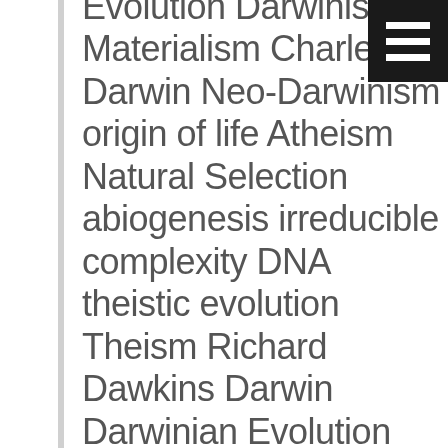[Figure (other): Hamburger menu icon (three white horizontal bars on black background) in top-right corner]
Evolution Darwinism Materialism Charles Darwin Neo-Darwinism origin of life Atheism Natural Selection abiogenesis irreducible complexity DNA theistic evolution Theism Richard Dawkins Darwin Darwinian Evolution fine tuning common descent science education Biological Information biology Casey Luskin Scientism Big Bang Cambrian Explosion genetics fine-tuning teleology William Dembski Academic Freedom Junk DNA Featured Proteins scientific racism Darwin Devolves Eugenics God C.S. Lewis Francis Collins